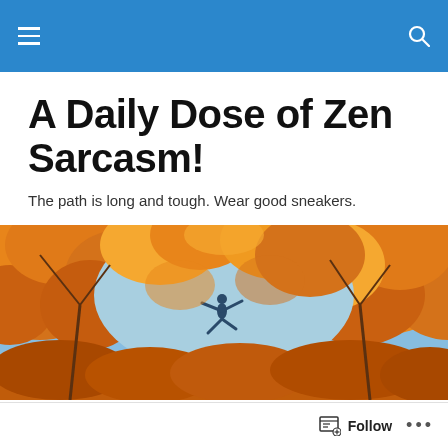A Daily Dose of Zen Sarcasm!
The path is long and tough. Wear good sneakers.
[Figure (photo): Autumn scene with orange and yellow fall foliage trees framing a light blue sky, with a silhouette of a person jumping or leaping in the background center.]
They May Call Me the Neophyte Poster...